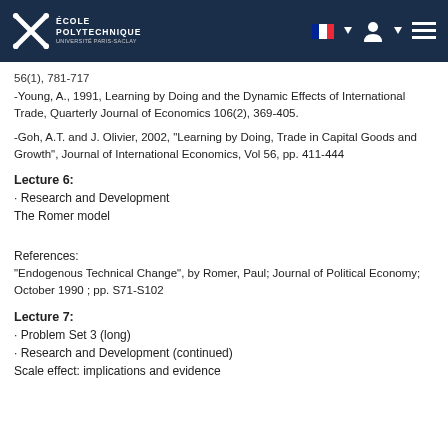École Polytechnique header bar
56(1), 781-717
-Young, A., 1991, Learning by Doing and the Dynamic Effects of International Trade, Quarterly Journal of Economics 106(2), 369-405.
-Goh, A.T. and J. Olivier, 2002, "Learning by Doing, Trade in Capital Goods and Growth", Journal of International Economics, Vol 56, pp. 411-444
Lecture 6:
· Research and Development
The Romer model
References:
"Endogenous Technical Change", by Romer, Paul; Journal of Political Economy; October 1990 ; pp. S71-S102
Lecture 7:
· Problem Set 3 (long)
· Research and Development (continued)
Scale effect: implications and evidence